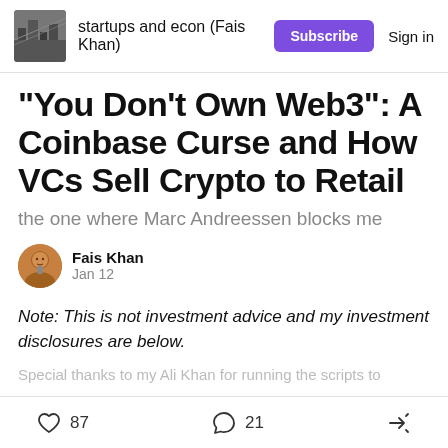startups and econ (Fais Khan) | Subscribe | Sign in
"You Don't Own Web3": A Coinbase Curse and How VCs Sell Crypto to Retail
the one where Marc Andreessen blocks me
Fais Khan
Jan 12
Note: This is not investment advice and my investment disclosures are below.
Special thanks to my Ali Khan for running the scripts to
87 likes  21 comments  share